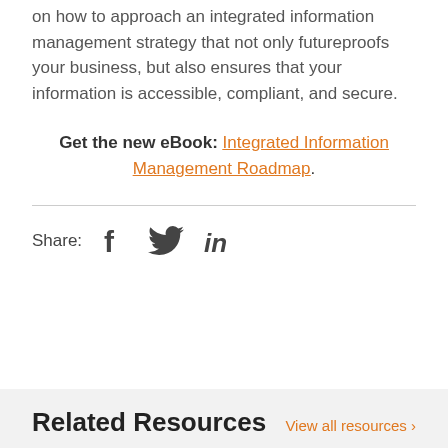on how to approach an integrated information management strategy that not only futureproofs your business, but also ensures that your information is accessible, compliant, and secure.
Get the new eBook: Integrated Information Management Roadmap.
Share:
Related Resources
View all resources >